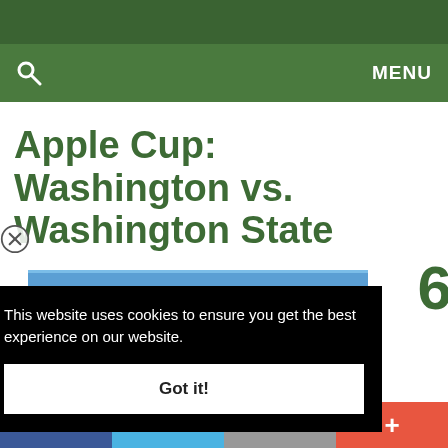MENU
Apple Cup: Washington vs. Washington State
This website uses cookies to ensure you get the best experience on our website.
Got it!